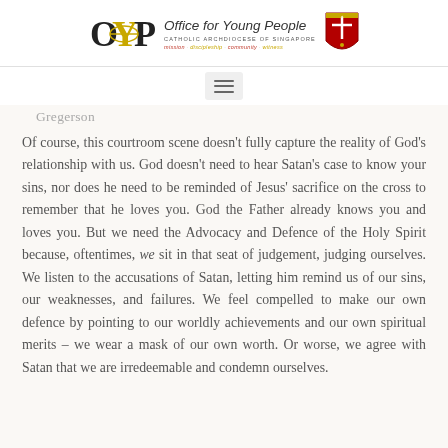Office for Young People – Catholic Archdiocese of Singapore
Gregerson
Of course, this courtroom scene doesn't fully capture the reality of God's relationship with us. God doesn't need to hear Satan's case to know your sins, nor does he need to be reminded of Jesus' sacrifice on the cross to remember that he loves you. God the Father already knows you and loves you. But we need the Advocacy and Defence of the Holy Spirit because, oftentimes, we sit in that seat of judgement, judging ourselves. We listen to the accusations of Satan, letting him remind us of our sins, our weaknesses, and failures. We feel compelled to make our own defence by pointing to our worldly achievements and our own spiritual merits – we wear a mask of our own worth. Or worse, we agree with Satan that we are irredeemable and condemn ourselves.